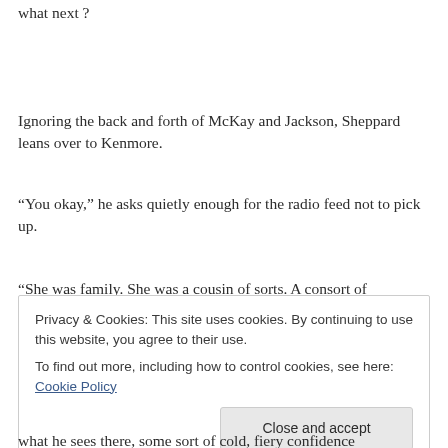what next ?
Ignoring the back and forth of McKay and Jackson, Sheppard leans over to Kenmore.
“You okay,” he asks quietly enough for the radio feed not to pick up.
“She was family. She was a cousin of sorts. A consort of
Privacy & Cookies: This site uses cookies. By continuing to use this website, you agree to their use.
To find out more, including how to control cookies, see here: Cookie Policy
what he sees there, some sort of cold, fiery confidence